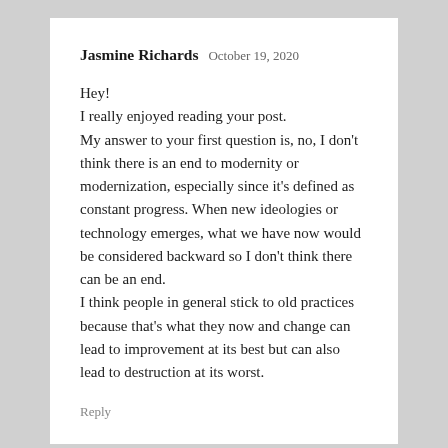Jasmine Richards  October 19, 2020
Hey!
I really enjoyed reading your post.
My answer to your first question is, no, I don't think there is an end to modernity or modernization, especially since it's defined as constant progress. When new ideologies or technology emerges, what we have now would be considered backward so I don't think there can be an end.
I think people in general stick to old practices because that's what they now and change can lead to improvement at its best but can also lead to destruction at its worst.
Reply